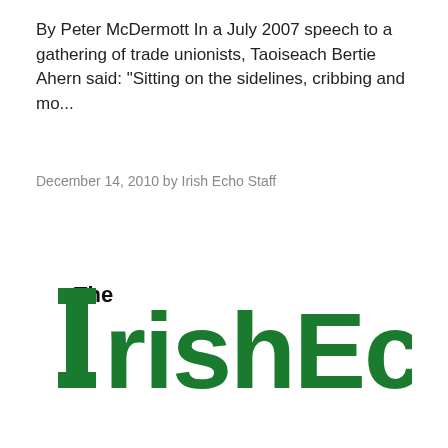By Peter McDermott In a July 2007 speech to a gathering of trade unionists, Taoiseach Bertie Ahern said: "Sitting on the sidelines, cribbing and mo...
December 14, 2010 by Irish Echo Staff
[Figure (logo): The Irish Echo newspaper logo — large bold green serif/sans text reading 'IrishEcho' with 'The' in smaller black text above the 'I']